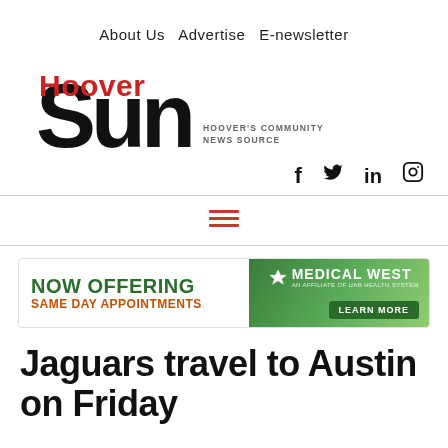About Us  Advertise  E-newsletter
[Figure (logo): Hoover Sun logo — large black 'Sun' text with 'Hoover' in red above, tagline 'HOOVER'S COMMUNITY NEWS SOURCE' to the right]
Social icons: Facebook, Twitter, LinkedIn, Instagram
[Figure (other): Hamburger menu icon (three red horizontal lines)]
[Figure (other): Medical West advertisement banner: NOW OFFERING SAME DAY APPOINTMENTS with Medical West logo and LEARN MORE button]
Jaguars travel to Austin on Friday